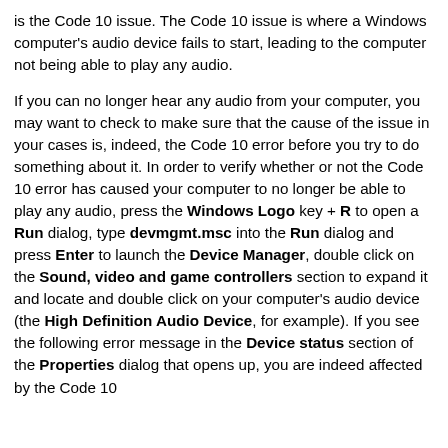is the Code 10 issue. The Code 10 issue is where a Windows computer's audio device fails to start, leading to the computer not being able to play any audio.
If you can no longer hear any audio from your computer, you may want to check to make sure that the cause of the issue in your cases is, indeed, the Code 10 error before you try to do something about it. In order to verify whether or not the Code 10 error has caused your computer to no longer be able to play any audio, press the Windows Logo key + R to open a Run dialog, type devmgmt.msc into the Run dialog and press Enter to launch the Device Manager, double click on the Sound, video and game controllers section to expand it and locate and double click on your computer's audio device (the High Definition Audio Device, for example). If you see the following error message in the Device status section of the Properties dialog that opens up, you are indeed affected by the Code 10